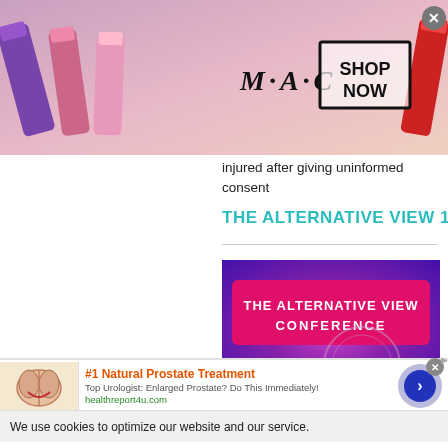[Figure (photo): MAC cosmetics advertisement banner showing lipsticks in purple, pink and red with MAC logo and SHOP NOW box]
injured after giving uninformed consent
THE ALTERNATIVE VIEW 12
[Figure (photo): The Alternative View Conference promotional image with pink banner text 'THE ALTERNATIVE VIEW CONFERENCE' and AV12 logo on purple background]
We use cookies to optimize our website and our service.
[Figure (photo): Advertisement for #1 Natural Prostate Treatment showing anatomical illustration, with text 'Top Urologist: Enlarged Prostate? Do This Immediately!' from healthreport4u.com]